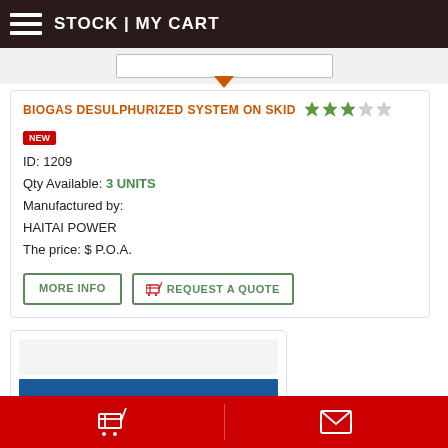STOCK | MY CART
BIOGAS DESULPHURIZED SYSTEM ON SKID
NEW
ID: 1209
Qty Available: 3 UNITS
Manufactured by: HAITAI POWER
The price: $ P.O.A.
MORE INFO
REQUEST A QUOTE